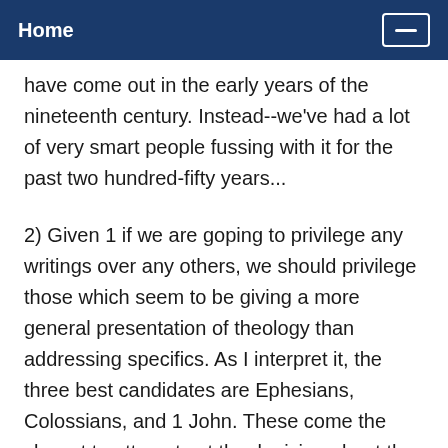Home
have come out in the early years of the nineteenth century. Instead--we've had a lot of very smart people fussing with it for the past two hundred-fifty years...
2) Given 1 if we are goping to privilege any writings over any others, we should privilege those which seem to be giving a more general presentation of theology than addressing specifics. As I interpret it, the three best candidates are Ephesians, Colossians, and 1 John. These come the closest to attempts at theologizing about the relationship between Christ,